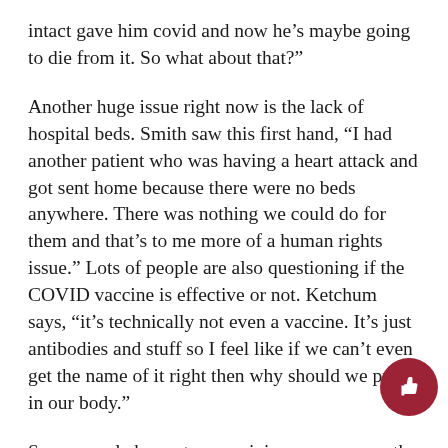intact gave him covid and now he’s maybe going to die from it. So what about that?”
Another huge issue right now is the lack of hospital beds. Smith saw this first hand, “I had another patient who was having a heart attack and got sent home because there were no beds anywhere. There was nothing we could do for them and that’s to me more of a human rights issue.” Lots of people are also questioning if the COVID vaccine is effective or not. Ketchum says, “it’s technically not even a vaccine. It’s just antibodies and stuff so I feel like if we can’t even get the name of it right then why should we put it in our body.”
Some people have strong opinions one way or the other but others like Trumbull see both sides of the issue. “I think most of it has to do with